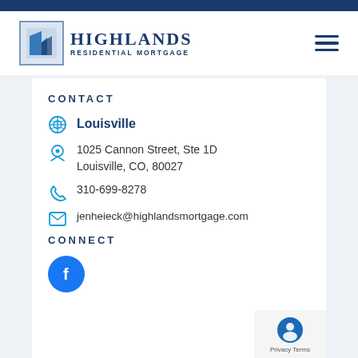[Figure (logo): Highlands Residential Mortgage logo with stylized H icon in blue box and company name]
CONTACT
Louisville
1025 Cannon Street, Ste 1D
Louisville, CO, 80027
310-699-8278
jenheieck@highlandsmortgage.com
CONNECT
[Figure (logo): Facebook icon - blue circle with white f]